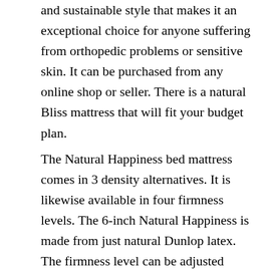and sustainable style that makes it an exceptional choice for anyone suffering from orthopedic problems or sensitive skin. It can be purchased from any online shop or seller. There is a natural Bliss mattress that will fit your budget plan.
The Natural Happiness bed mattress comes in 3 density alternatives. It is likewise available in four firmness levels. The 6-inch Natural Happiness is made from just natural Dunlop latex. The firmness level can be adjusted depending on your body weight